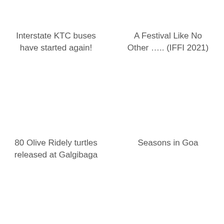Interstate KTC buses have started again!
A Festival Like No Other ….. (IFFI 2021)
80 Olive Ridely turtles released at Galgibaga
Seasons in Goa